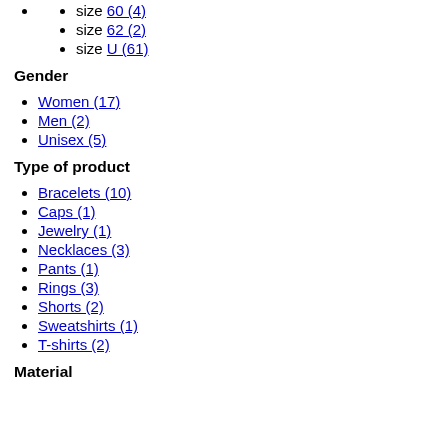size 60 (4)
size 62 (2)
size U (61)
Gender
Women (17)
Men (2)
Unisex (5)
Type of product
Bracelets (10)
Caps (1)
Jewelry (1)
Necklaces (3)
Pants (1)
Rings (3)
Shorts (2)
Sweatshirts (1)
T-shirts (2)
Material